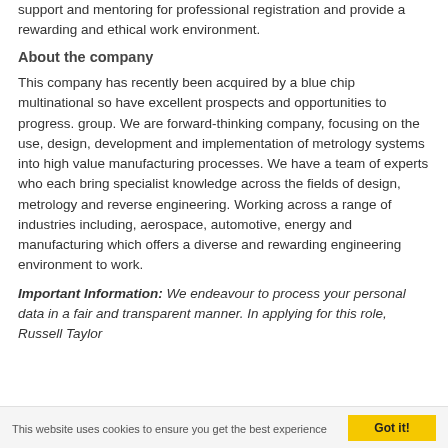support and mentoring for professional registration and provide a rewarding and ethical work environment.
About the company
This company has recently been acquired by a blue chip multinational so have excellent prospects and opportunities to progress. group. We are forward-thinking company, focusing on the use, design, development and implementation of metrology systems into high value manufacturing processes. We have a team of experts who each bring specialist knowledge across the fields of design, metrology and reverse engineering. Working across a range of industries including, aerospace, automotive, energy and manufacturing which offers a diverse and rewarding engineering environment to work.
Important Information: We endeavour to process your personal data in a fair and transparent manner. In applying for this role, Russell Taylor
This website uses cookies to ensure you get the best experience